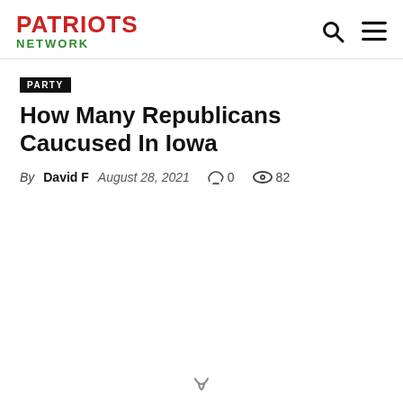PATRIOTS NETWORK
PARTY
How Many Republicans Caucused In Iowa
By David F  August 28, 2021  0  82